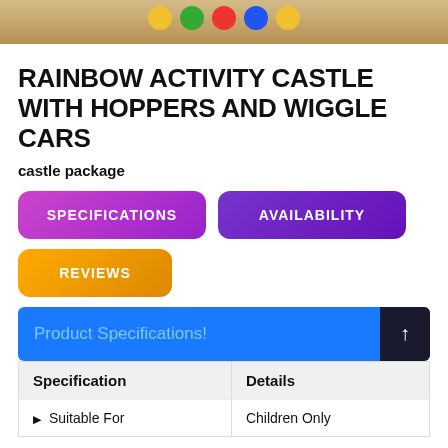[Figure (photo): Top portion of product image showing colorful toy cars on a wooden floor surface]
RAINBOW ACTIVITY CASTLE WITH HOPPERS AND WIGGLE CARS
castle package
SPECIFICATIONS
AVAILABILITY
REVIEWS
Product Specifications!
| Specification | Details |
| --- | --- |
| Suitable For | Children Only |